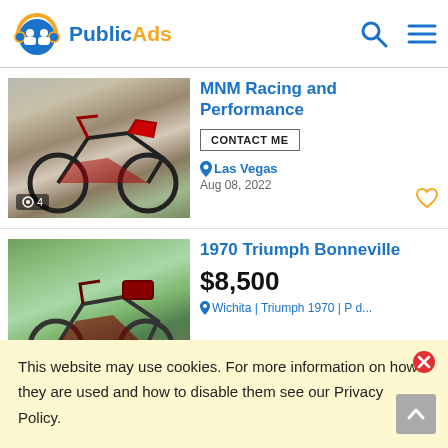PublicAds
MNM Racing and Performance
CONTACT ME
Las Vegas
Aug 08, 2022
1970 Triumph Bonneville
$8,500
This website may use cookies. For more information on how they are used and how to disable them see our Privacy Policy.